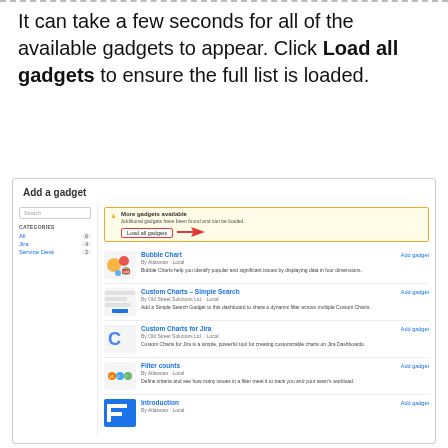It can take a few seconds for all of the available gadgets to appear. Click Load all gadgets to ensure the full list is loaded.
[Figure (screenshot): Screenshot of the 'Add a gadget' dialog in Jira, showing a search box, category list (All, Jira, Service Desk), a 'More gadgets available' notice with a 'Load all gadgets' button highlighted by a red arrow, and a list of gadgets including Bubble Chart, Custom Charts - Simple Search, Custom Charts for Jira, Filter counts, and Introduction.]